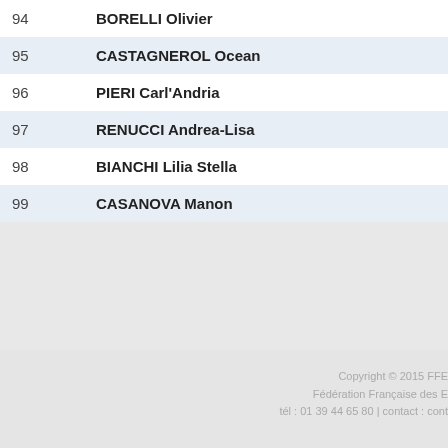| # | Name |
| --- | --- |
| 94 | BORELLI Olivier |
| 95 | CASTAGNEROL Ocean |
| 96 | PIERI Carl'Andria |
| 97 | RENUCCI Andrea-Lisa |
| 98 | BIANCHI Lilia Stella |
| 99 | CASANOVA Manon |
Copyright © 2015 FFE Fédération Française des E tél : 01 39 44 65 80 | contact : cont